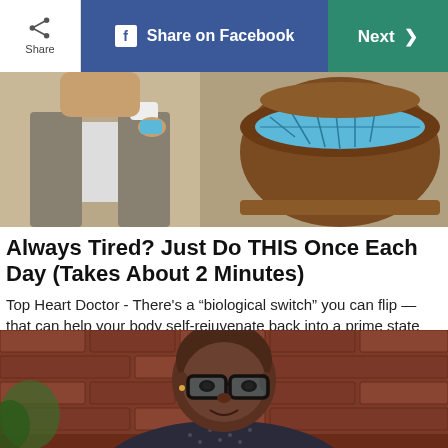Share | Share on Facebook | Next >
[Figure (photo): A person in a suit examining or placing something on a mosaic/tile structure with brown, blue, and white elements]
Always Tired? Just Do THIS Once Each Day (Takes About 2 Minutes)
Top Heart Doctor - There’s a “biological switch” you can flip — that can help your body self-rejuvenate back into a prime state
Gundry MD | Sponsored
[Figure (photo): A man with glasses and a shaved head wearing a dark dotted shirt, seated in front of a brick wall background]